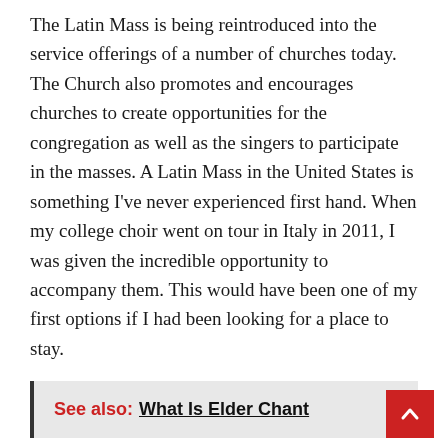The Latin Mass is being reintroduced into the service offerings of a number of churches today. The Church also promotes and encourages churches to create opportunities for the congregation as well as the singers to participate in the masses. A Latin Mass in the United States is something I've never experienced first hand. When my college choir went on tour in Italy in 2011, I was given the incredible opportunity to accompany them. This would have been one of my first options if I had been looking for a place to stay.
See also:  What Is Elder Chant
Yes, it was a little nerve-wracking, but it was